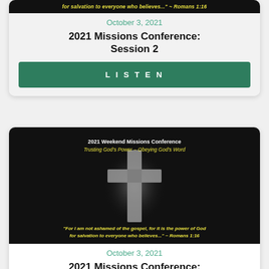[Figure (photo): Dark banner image with yellow italic text: 'for salvation to everyone who believes...' ~ Romans 1:16]
October 3, 2021
2021 Missions Conference: Session 2
LISTEN
[Figure (photo): Dark background image with cross, text '2021 Weekend Missions Conference Trusting God's Power – Obeying God's Word' at top, and '"For I am not ashamed of the gospel, for it is the power of God for salvation to everyone who believes..." ~ Romans 1:16' at bottom in yellow italic]
October 3, 2021
2021 Missions Conference: